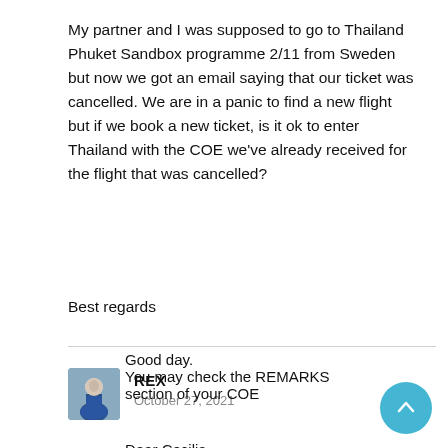My partner and I was supposed to go to Thailand Phuket Sandbox programme 2/11 from Sweden but now we got an email saying that our ticket was cancelled. We are in a panic to find a new flight but if we book a new ticket, is it ok to enter Thailand with the COE we've already received for the flight that was cancelled?
Best regards
REX
October 27, 2021
Dear Cecilia,
Good day.
You may check the REMARKS section of your COE